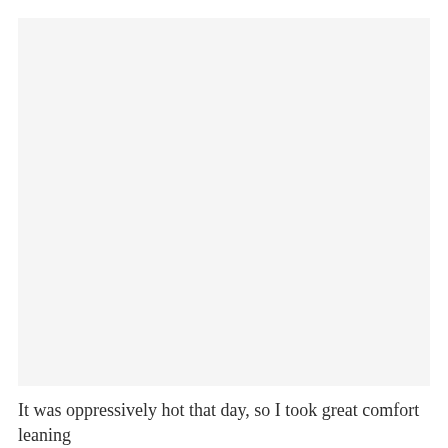[Figure (other): Large blank/white rectangular area occupying most of the page, with a light gray background.]
It was oppressively hot that day, so I took great comfort leaning